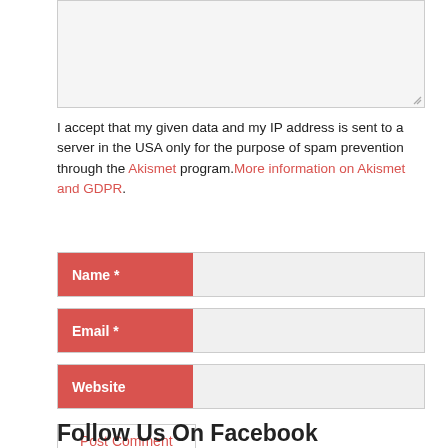[Figure (screenshot): Textarea input box with resize handle, partially visible at top of page]
I accept that my given data and my IP address is sent to a server in the USA only for the purpose of spam prevention through the Akismet program.More information on Akismet and GDPR.
Name *
Email *
Website
Post Comment
Follow Us On Facebook